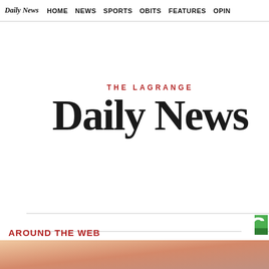Daily News | HOME | NEWS | SPORTS | OBITS | FEATURES | OPIN
[Figure (logo): THE LaGRANGE Daily News masthead logo in blackletter / Old English style font with red 'THE LaGRANGE' text above large black 'Daily News' text]
AROUND THE WEB